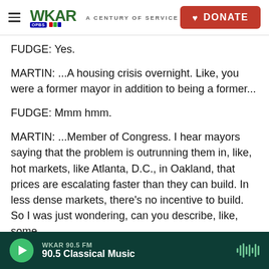WKAR — A CENTURY OF SERVICE — DONATE
FUDGE: Yes.
MARTIN: ...A housing crisis overnight. Like, you were a former mayor in addition to being a former...
FUDGE: Mmm hmm.
MARTIN: ...Member of Congress. I hear mayors saying that the problem is outrunning them in, like, hot markets, like Atlanta, D.C., in Oakland, that prices are escalating faster than they can build. In less dense markets, there's no incentive to build. So I was just wondering, can you describe, like, some
WKAR 90.5 FM — 90.5 Classical Music